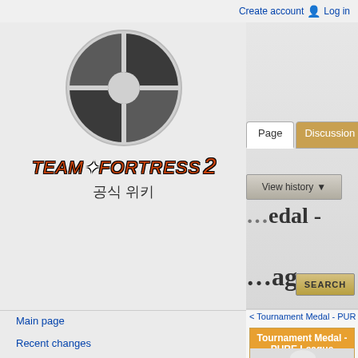Create account  Log in
[Figure (logo): Team Fortress 2 official wiki logo with Korean text '공식 위키']
Page | Discussion | View history
Tournament Medal - PURE League
< Tournament Medal - PURE League
Tournament Medal - PURE League
[Figure (photo): Team Fortress 2 Medic character wearing tournament medal costume]
Main page
About
Recent changes
Random page
Help
FAQ
IRC channel
Tools
What links here
Related changes
Special pages
Printable version
Permanent link